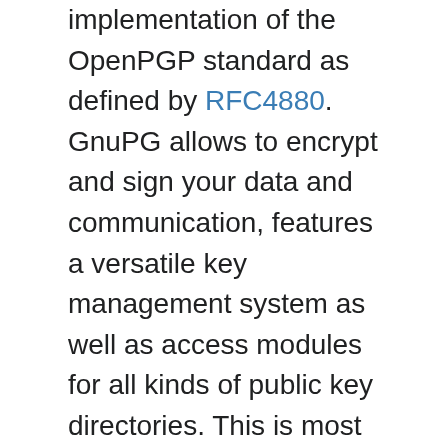implementation of the OpenPGP standard as defined by RFC4880. GnuPG allows to encrypt and sign your data and communication, features a versatile key management system as well as access modules for all kinds of public key directories. This is most commonly used to encrypt your emails. Emails by default travel plain text over the internet like a postcard. Once you have GnuPG installed, generate a keypair (a public and private key). You should give your public key to everyone you intend on communicating with, and guard your private key with your life. Find a GnuPG plugin for your email program, such as Enigmail for Thunderbird.
If you have any questions, or would like to let me know how your experience was using either of these, let me know here in the comments, on Facebook or Twitter, whichever you prefer.